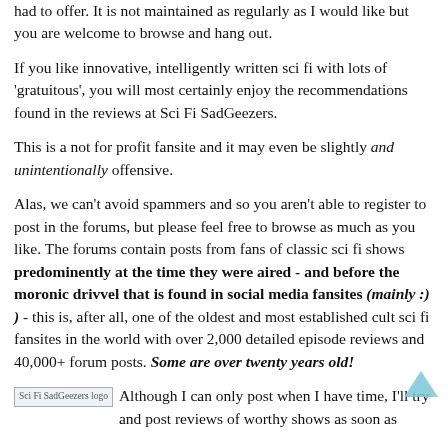had to offer. It is not maintained as regularly as I would like but you are welcome to browse and hang out.
If you like innovative, intelligently written sci fi with lots of 'gratuitous', you will most certainly enjoy the recommendations found in the reviews at Sci Fi SadGeezers.
This is a not for profit fansite and it may even be slightly and unintentionally offensive.
Alas, we can't avoid spammers and so you aren't able to register to post in the forums, but please feel free to browse as much as you like. The forums contain posts from fans of classic sci fi shows predominantly at the time they were aired - and before the moronic drivvel that is found in social media fansites (mainly :) ) - this is, after all, one of the oldest and most established cult sci fi fansites in the world with over 2,000 detailed episode reviews and 40,000+ forum posts. Some are over twenty years old!
[Figure (logo): Sci Fi SadGeezers logo image placeholder]
Although I can only post when I have time, I'll try and post reviews of worthy shows as soon as